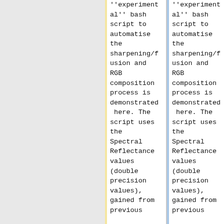''experimental'' bash script to automatise the sharpening/fusion and RGB composition process is demonstrated here. The script uses the Spectral Reflectance values (double precision values), gained from previous
''experimental'' bash script to automatise the sharpening/fusion and RGB composition process is demonstrated here. The script uses the Spectral Reflectance values (double precision values), gained from previous